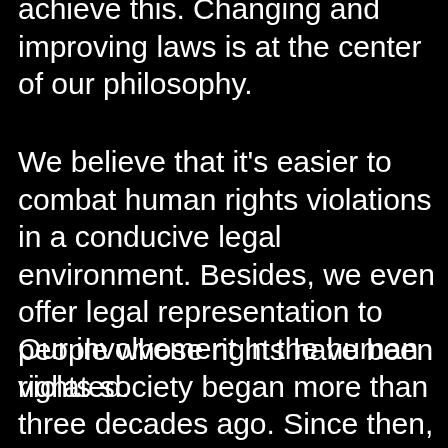achieve this. Changing and improving laws is at the center of our philosophy.
We believe that it's easier to combat human rights violations in a conducive legal environment. Besides, we even offer legal representation to people whose rights have been violated.
Our involvement in the human rights society began more than three decades ago. Since then, we have come up with a series of revolutionary tactics to fight against human rights abuses. Minorities, children,